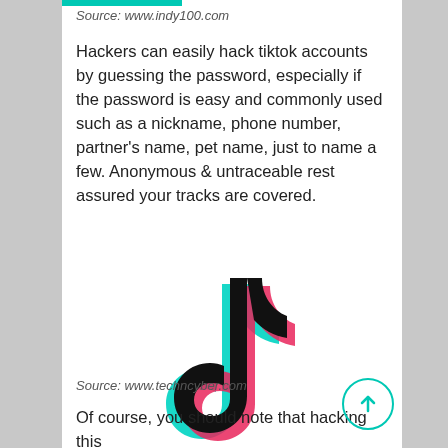Source: www.indy100.com
Hackers can easily hack tiktok accounts by guessing the password, especially if the password is easy and commonly used such as a nickname, phone number, partner’s name, pet name, just to name a few. Anonymous & untraceable rest assured your tracks are covered.
[Figure (logo): TikTok logo — black musical note shape with cyan shadow on the left and pink/magenta shadow on the right]
Source: www.techncyber.com
Of course, you should note that hacking this